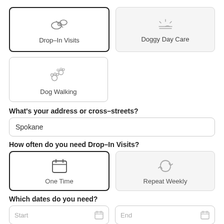[Figure (other): Service selection cards: Drop-In Visits (selected, with dog treat icon), Doggy Day Care (with sunrise icon)]
[Figure (other): Service selection card: Dog Walking (with paw prints icon)]
What's your address or cross-streets?
Spokane
How often do you need Drop-In Visits?
[Figure (other): Frequency selection cards: One Time (selected, with calendar icon), Repeat Weekly (with repeat arrows icon)]
Which dates do you need?
[Figure (other): Date input fields: Start and End with calendar icons]